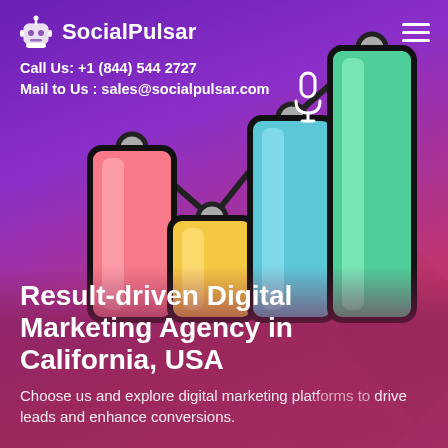[Figure (logo): SocialPulsar logo with robot icon and wordmark in white]
Call Us: +1 (844) 544 2727
Mail to Us : sales@socialpulsar.com
[Figure (illustration): Colorful bar chart illustration with line chart overlay on purple gradient background, featuring pink, yellow, cyan/blue, and green bars with black outlines and connected dots on a line]
Result-driven Digital Marketing Agency in California, USA
Choose us and explore digital marketing platforms to drive leads and enhance conversions.